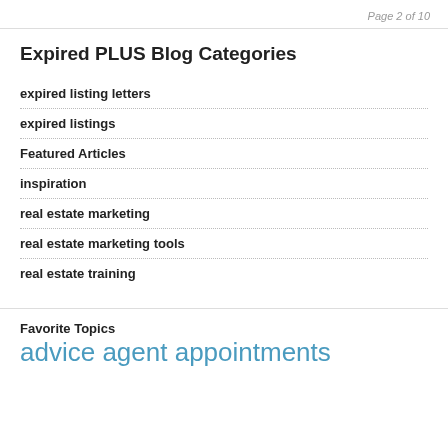Page 2 of 10
Expired PLUS Blog Categories
expired listing letters
expired listings
Featured Articles
inspiration
real estate marketing
real estate marketing tools
real estate training
Favorite Topics
advice agent appointments